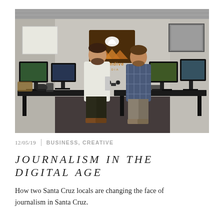[Figure (photo): Two men standing in a media production office with multiple computer monitors, cameras, and equipment. A wooden 'swandive MEDIA' logo sign is mounted on the wall behind them.]
12/05/19   BUSINESS, CREATIVE
JOURNALISM IN THE DIGITAL AGE
How two Santa Cruz locals are changing the face of journalism in Santa Cruz.